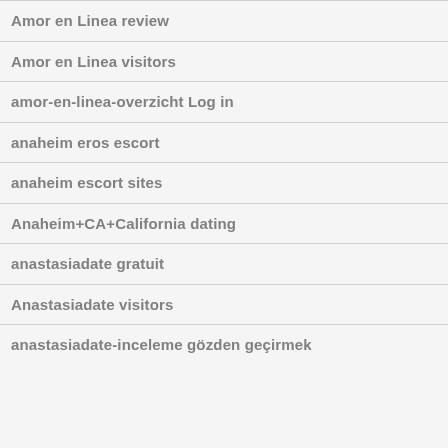Amor en Linea review
Amor en Linea visitors
amor-en-linea-overzicht Log in
anaheim eros escort
anaheim escort sites
Anaheim+CA+California dating
anastasiadate gratuit
Anastasiadate visitors
anastasiadate-inceleme gözden geçirmek